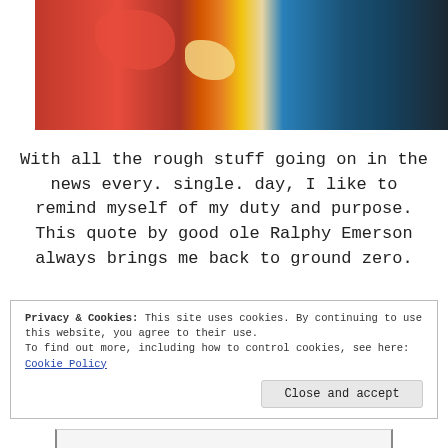[Figure (photo): Close-up photo of food: red tomato-based dish with chunks on the left side, and a blue plate with what appears to be a blue-purple food item on the right side.]
With all the rough stuff going on in the news every. single. day, I like to remind myself of my duty and purpose. This quote by good ole Ralphy Emerson always brings me back to ground zero.
Privacy & Cookies: This site uses cookies. By continuing to use this website, you agree to their use.
To find out more, including how to control cookies, see here:
Cookie Policy
Close and accept